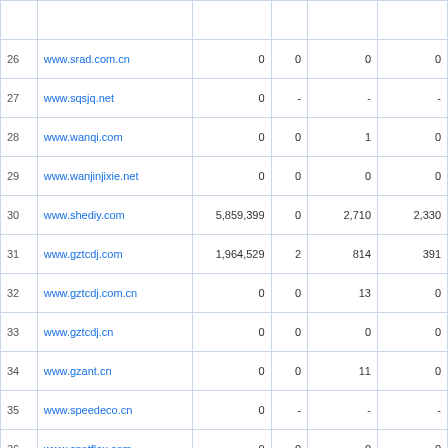| # | URL |  |  |  |  |
| --- | --- | --- | --- | --- | --- |
| 26 | www.srad.com.cn | 0 | 0 | 0 | 0 |
| 27 | www.sqsjq.net | 0 | - | - | - |
| 28 | www.wanqi.com | 0 | 0 | 1 | 0 |
| 29 | www.wanjinjixie.net | 0 | 0 | 0 | 0 |
| 30 | www.shediy.com | 5,859,399 | 0 | 2,710 | 2,330 |
| 31 | www.gztcdj.com | 1,964,529 | 2 | 814 | 391 |
| 32 | www.gztcdj.com.cn | 0 | 0 | 13 | 0 |
| 33 | www.gztcdj.cn | 0 | 0 | 0 | 0 |
| 34 | www.gzant.cn | 0 | 0 | 11 | 0 |
| 35 | www.speedeco.cn | 0 | - | - | - |
| 36 | www.spotflex.com | 0 | 0 | 0 | 0 |
| 37 | www.jiqituan.com | 0 | - | - | - |
| 38 | www.kpitv.com | 0 | 4 | 1 | 0 |
| 39 | www.39gou.cn | 0 | 0 | 0 | 0 |